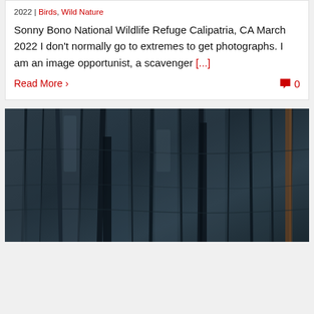2022 | Birds, Wild Nature
Sonny Bono National Wildlife Refuge Calipatria, CA March 2022 I don't normally go to extremes to get photographs. I am an image opportunist, a scavenger [...]
Read More ›
0
[Figure (photo): Close-up photograph of dark charred or rocky textured wood/stone surface with deep crevices and vertical striations, appearing blue-grey in tone]